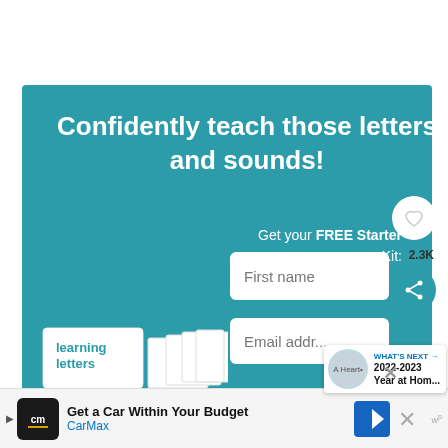[Figure (screenshot): Teal promotional banner with text 'Confidently teach those letters and sounds!' and a form to get a free starter kit with fields for first name and email address. A book cover showing 'learning letters' is visible at the bottom left.]
Confidently teach those letters and sounds!
Get your FREE Starter Kit:
First name
Email addr...
2.3K
WHAT'S NEXT → 2022-2023 Year at Hom...
This website uses cookies to improve your experience.
you're ok with this, but you can opt-out if you wish.
Accept
Read
Get a Car Within Your Budget CarMax